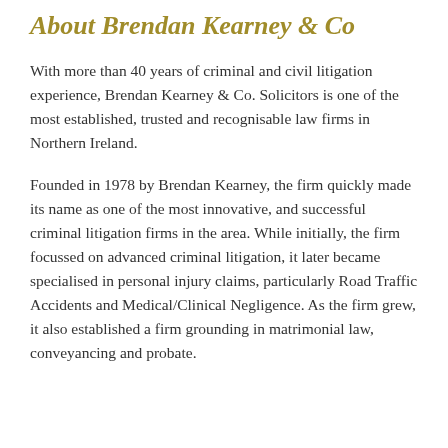About Brendan Kearney & Co
With more than 40 years of criminal and civil litigation experience, Brendan Kearney & Co. Solicitors is one of the most established, trusted and recognisable law firms in Northern Ireland.
Founded in 1978 by Brendan Kearney, the firm quickly made its name as one of the most innovative, and successful criminal litigation firms in the area. While initially, the firm focussed on advanced criminal litigation, it later became specialised in personal injury claims, particularly Road Traffic Accidents and Medical/Clinical Negligence. As the firm grew, it also established a firm grounding in matrimonial law, conveyancing and probate.